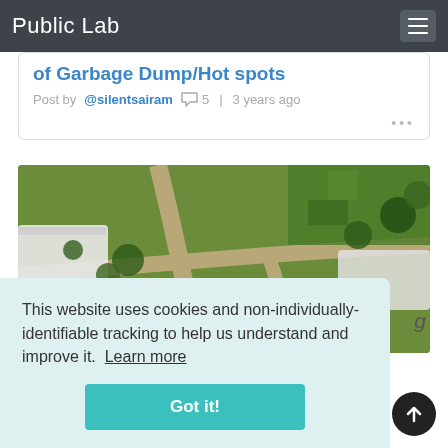Public Lab
of Garbage Dump/Hot spots
Post by @silentsairam 💬 5  |  3 years ago
[Figure (photo): Aerial drone photograph of an allotment garden with greenhouses, paths, and garden plots viewed from above]
This website uses cookies and non-individually-identifiable tracking to help us understand and improve it. Learn more
Got it!